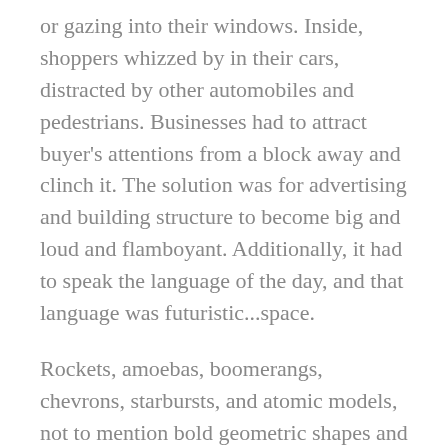or gazing into their windows. Inside, shoppers whizzed by in their cars, distracted by other automobiles and pedestrians. Businesses had to attract buyer's attentions from a block away and clinch it. The solution was for advertising and building structure to become big and loud and flamboyant. Additionally, it had to speak the language of the day, and that language was futuristic...space.
Rockets, amoebas, boomerangs, chevrons, starbursts, and atomic models, not to mention bold geometric shapes and angles and vivid color...this was the cultural dialect of post war America—the atomic era. American business quickly learned to speak this emerging language, and created some fun and unprecedented art as